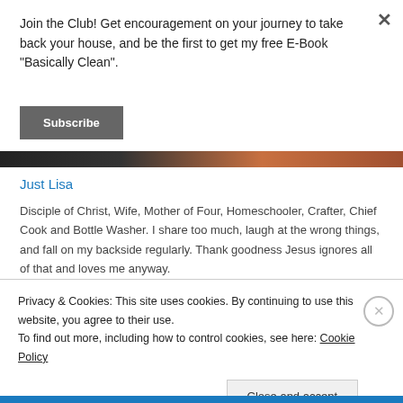Join the Club! Get encouragement on your journey to take back your house, and be the first to get my free E-Book "Basically Clean".
Subscribe
[Figure (photo): Partial view of a photo strip showing dark and brown tones, likely a person or scene]
Just Lisa
Disciple of Christ, Wife, Mother of Four, Homeschooler, Crafter, Chief Cook and Bottle Washer. I share too much, laugh at the wrong things, and fall on my backside regularly. Thank goodness Jesus ignores all of that and loves me anyway.
Privacy & Cookies: This site uses cookies. By continuing to use this website, you agree to their use.
To find out more, including how to control cookies, see here: Cookie Policy
Close and accept